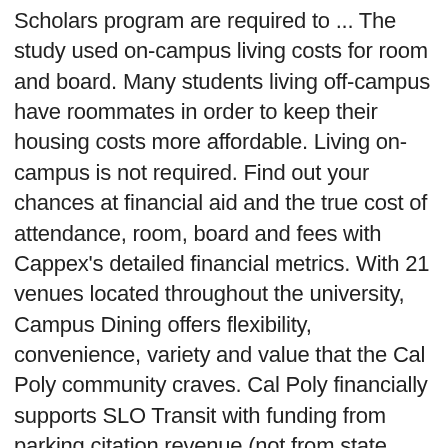Scholars program are required to ... The study used on-campus living costs for room and board. Many students living off-campus have roommates in order to keep their housing costs more affordable. Living on-campus is not required. Find out your chances at financial aid and the true cost of attendance, room, board and fees with Cappex's detailed financial metrics. With 21 venues located throughout the university, Campus Dining offers flexibility, convenience, variety and value that the Cal Poly community craves. Cal Poly financially supports SLO Transit with funding from parking citation revenue (not from state general funds nor from student tuition), so faculty, staff, and students ride for free. Fee will appear as multiple lines in the student account activity. Associate Vice Provost for Marketing & Enrollment Development . 2, 3, and 4-Year scholarships that cover tuition and fees or room and board costs are competitively available to all interested Cal Poly students, prospective or current. Experience all that Cal Poly has to offer. **Non-Resident Tuition: Tuition will include an annual opportunity fee of $2,010